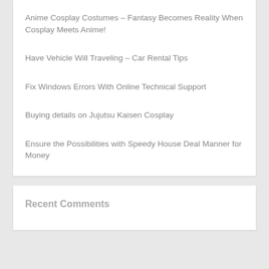Anime Cosplay Costumes – Fantasy Becomes Reality When Cosplay Meets Anime!
Have Vehicle Will Traveling – Car Rental Tips
Fix Windows Errors With Online Technical Support
Buying details on Jujutsu Kaisen Cosplay
Ensure the Possibilities with Speedy House Deal Manner for Money
Recent Comments